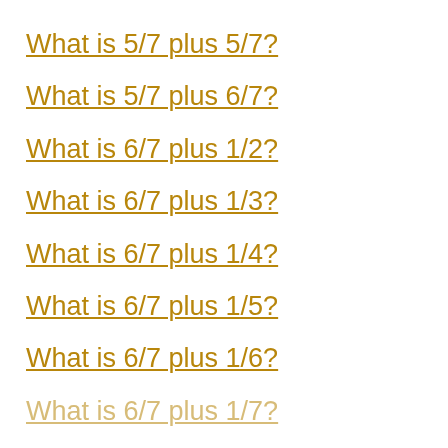What is 5/7 plus 5/7?
What is 5/7 plus 6/7?
What is 6/7 plus 1/2?
What is 6/7 plus 1/3?
What is 6/7 plus 1/4?
What is 6/7 plus 1/5?
What is 6/7 plus 1/6?
What is 6/7 plus 1/7?